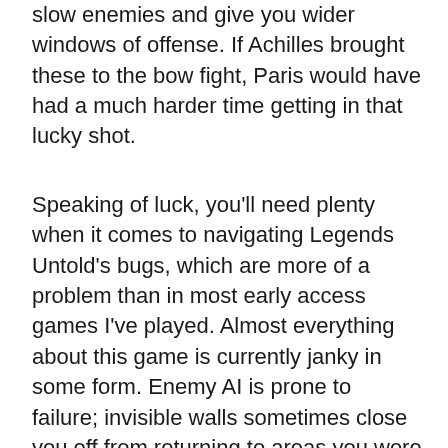slow enemies and give you wider windows of offense. If Achilles brought these to the bow fight, Paris would have had a much harder time getting in that lucky shot.
Speaking of luck, you'll need plenty when it comes to navigating Legends Untold's bugs, which are more of a problem than in most early access games I've played. Almost everything about this game is currently janky in some form. Enemy AI is prone to failure; invisible walls sometimes close you off from returning to areas you were just in; the lock-on system frequently ignores enemies within stabbing distance in favor of ones that are off screen; sound drops out from cutscenes; and (you guessed it) more. Again, it's early access, but the price to play Achilles isn't just cash, it's sometimes a Sisyphean test of your patience. And in its current state, that's a price I wouldn't recommend